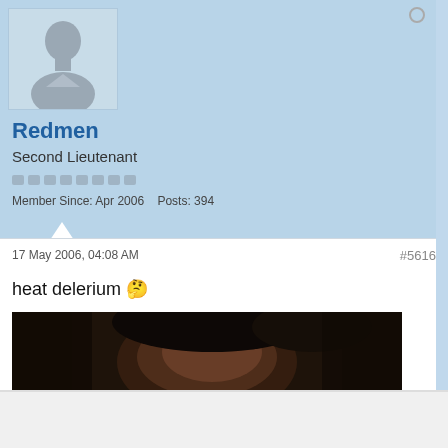[Figure (illustration): Default user avatar silhouette placeholder image on light blue background]
Redmen
Second Lieutenant
Member Since: Apr 2006    Posts: 394
17 May 2006, 04:08 AM
#5616
heat delerium 🤔
[Figure (photo): Close-up dark photo of a person's face, cropped at top of image]